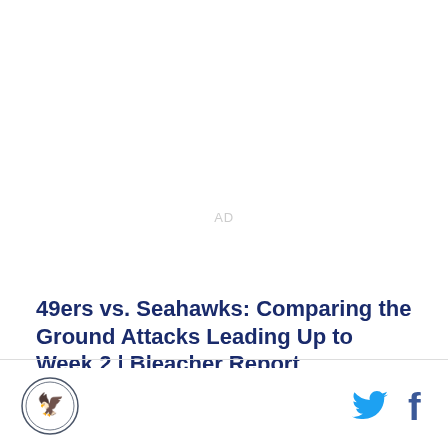AD
49ers vs. Seahawks: Comparing the Ground Attacks Leading Up to Week 2 | Bleacher Report
This Sunday night's game between the Seattle Seahawks and the San Francisco 49ers is a matchup of two of the top rushing attacks in the NFL. It is also a
[Figure (logo): Bleacher Report logo - circular badge with eagle/bird emblem]
[Figure (logo): Twitter bird icon in cyan blue]
[Figure (logo): Facebook 'f' icon in dark blue]